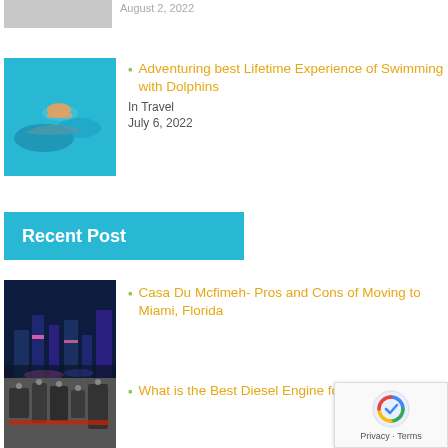August 2, 2022
Adventuring best Lifetime Experience of Swimming with Dolphins
In Travel
July 6, 2022
Recent Post
Casa Du Mcfimeh- Pros and Cons of Moving to Miami, Florida
What is the Best Diesel Engine for a Mo...